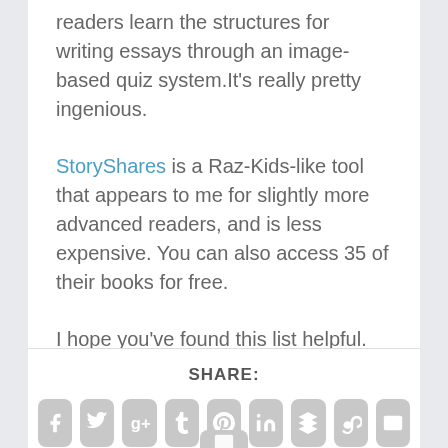readers learn the structures for writing essays through an image-based quiz system.It’s really pretty ingenious.
StoryShares is a Raz-Kids-like tool that appears to me for slightly more advanced readers, and is less expensive. You can also access 35 of their books for free.
I hope you’ve found this list helpful.
SHARE:
[Figure (infographic): Row of 9 social share icon buttons (Facebook, Twitter, Google+, Tumblr, Pinterest, LinkedIn, Buffer, StumbleUpon, Email) in gray rounded square buttons, plus a partial button below.]